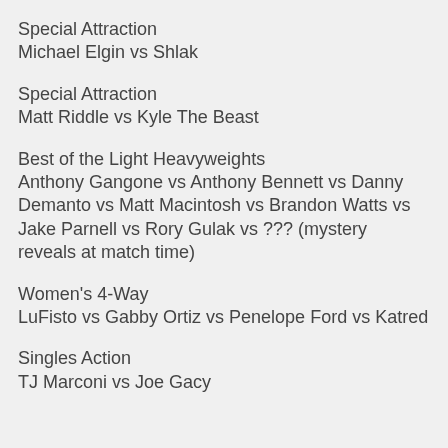Special Attraction
Michael Elgin vs Shlak
Special Attraction
Matt Riddle vs Kyle The Beast
Best of the Light Heavyweights
Anthony Gangone vs Anthony Bennett vs Danny Demanto vs Matt Macintosh vs Brandon Watts vs Jake Parnell vs Rory Gulak vs ??? (mystery reveals at match time)
Women's 4-Way
LuFisto vs Gabby Ortiz vs Penelope Ford vs Katred
Singles Action
TJ Marconi vs Joe Gacy